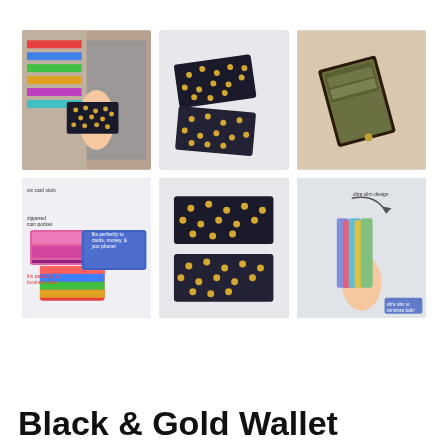[Figure (photo): Six product photos of a black and gold polka dot wallet arranged in a 3x2 grid. Top row left: hand holding the closed wallet in a store setting. Top row center: two wallets laid flat showing exterior. Top row right: wallet open showing interior compartments. Bottom row left: infographic showing wallet features with multiple colorful wallet variants. Bottom row center: two wallets laid flat. Bottom row right: ultra slim design demonstration with hand holding thin wallet.]
Black & Gold Wallet